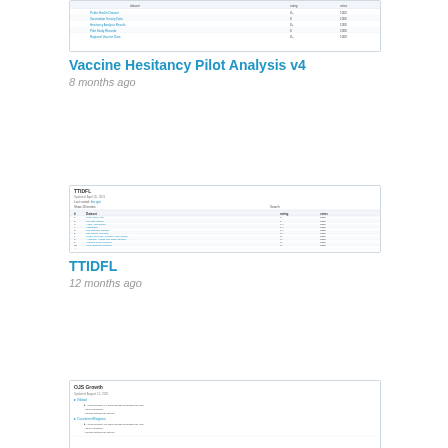[Figure (screenshot): Thumbnail screenshot of Vaccine Hesitancy Pilot Analysis v4 document with table rows]
Vaccine Hesitancy Pilot Analysis v4
8 months ago
[Figure (screenshot): Thumbnail screenshot of TTIDFL dataset page showing a ranked list table with columns for dataset, rating, and votes]
TTIDFL
12 months ago
[Figure (screenshot): Thumbnail screenshot of OJS Growth report updated August 12, 2021]
Global